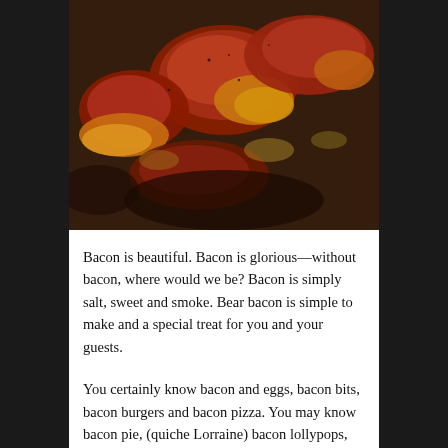[Figure (photo): Close-up photo of bacon strips cooking on a dark pan/griddle, showing reddish-brown cured meat with golden-brown fatty portions and sizzling oil.]
Bacon is beautiful. Bacon is glorious—without bacon, where would we be? Bacon is simply salt, sweet and smoke. Bear bacon is simple to make and a special treat for you and your guests.
You certainly know bacon and eggs, bacon bits, bacon burgers and bacon pizza. You may know bacon pie, (quiche Lorraine) bacon lollypops, chocolate-dipped bacon,